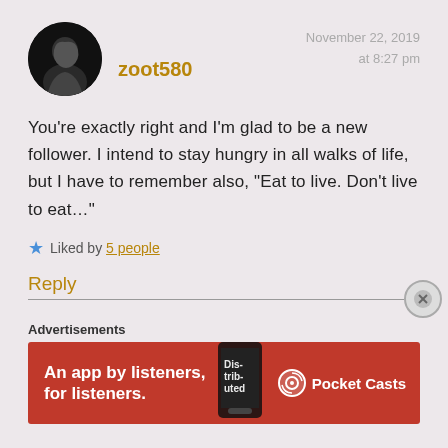[Figure (photo): Circular avatar photo of a person in profile, dark background]
zoot580
November 22, 2019
at 8:27 pm
You're exactly right and I'm glad to be a new follower. I intend to stay hungry in all walks of life, but I have to remember also, "Eat to live. Don't live to eat..."
★ Liked by 5 people
Reply
Advertisements
[Figure (screenshot): Pocket Casts advertisement banner: red background with text 'An app by listeners, for listeners.' and Pocket Casts logo with phone image]